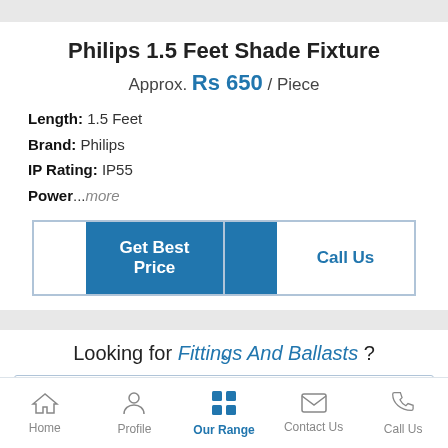Philips 1.5 Feet Shade Fixture
Approx. Rs 650 / Piece
Length: 1.5 Feet
Brand: Philips
IP Rating: IP55
Power...more
Get Best Price
Call Us
Looking for Fittings And Ballasts ?
Kindly Describe Your Requirement
Home  Profile  Our Range  Contact Us  Call Us